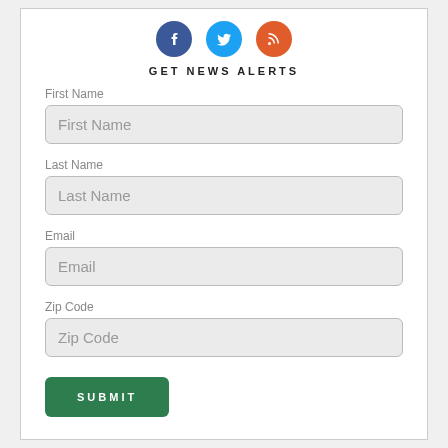[Figure (other): Social media icons: Facebook (blue circle), Twitter (light blue circle), RSS (orange circle)]
GET NEWS ALERTS
First Name
Last Name
Email
Zip Code
SUBMIT